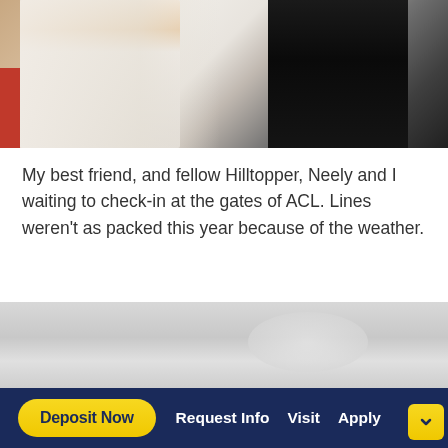[Figure (photo): Two people standing at what appears to be a festival entrance. A woman wearing a white fur coat and white top is on the left, and a person in a dark outfit with a teal fanny pack is visible on the right. A red jacket is partially visible on the far left.]
My best friend, and fellow Hilltopper, Neely and I waiting to check-in at the gates of ACL. Lines weren't as packed this year because of the weather.
[Figure (photo): Overcast sky with grey clouds, taken at an outdoor festival (ACL).]
Deposit Now   Request Info   Visit   Apply